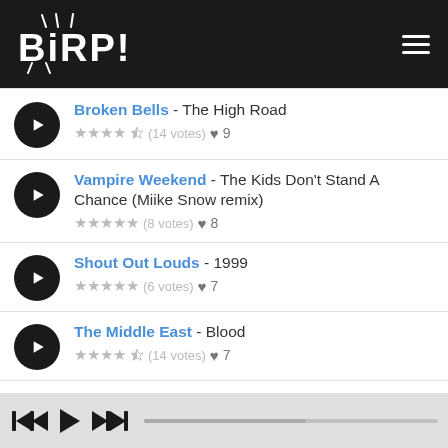BIRP!
Broken Bells - The High Road ★★★★½ (14 votes) ♥ 9
Vampire Weekend - The Kids Don't Stand A Chance (Miike Snow remix) ★★★★★ (8 votes) ♥ 8
Shout Out Louds - 1999 ★★★★★ (6 votes) ♥ 7
The Middle East - Blood ★★★★½ (14 votes) ♥ 7
Beach Fossils - Daydream
player controls: previous, play, next